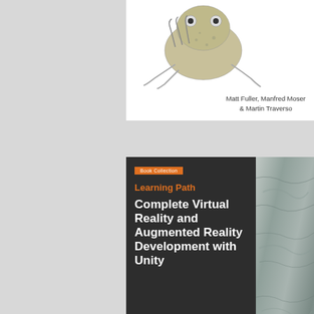[Figure (illustration): Partial book cover (top portion) showing a creature/frog illustration on white background with authors 'Matt Fuller, Manfred Moser & Martin Traverso']
[Figure (illustration): Book cover: 'Learning Path Complete Virtual Reality and Augmented Reality Development with Unity' - dark gray cover with orange accent, Packt publisher. Authors: Jessie Cai Jr. and Jonathan Linowes. Description: Leverage the power of Unity and become a pro at creating mixed reality applications.]
[Figure (illustration): Partial book cover (bottom portion) - 'The Developer's Guide to Debugging' on yellow background with a magnifying glass/hammer image]